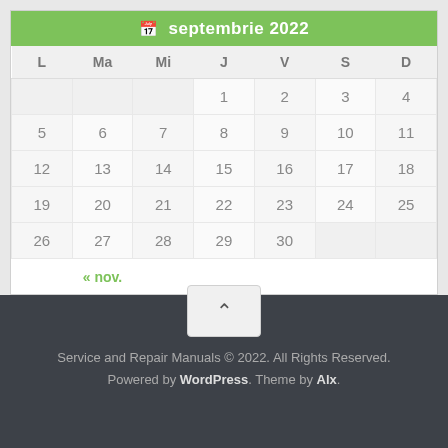| L | Ma | Mi | J | V | S | D |
| --- | --- | --- | --- | --- | --- | --- |
|  |  |  | 1 | 2 | 3 | 4 |
| 5 | 6 | 7 | 8 | 9 | 10 | 11 |
| 12 | 13 | 14 | 15 | 16 | 17 | 18 |
| 19 | 20 | 21 | 22 | 23 | 24 | 25 |
| 26 | 27 | 28 | 29 | 30 |  |  |
|  | « nov. |  |  |  |  |  |
Service and Repair Manuals © 2022. All Rights Reserved. Powered by WordPress. Theme by Alx.